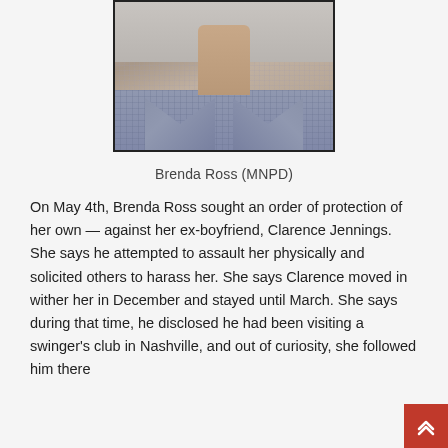[Figure (photo): Mugshot photo of Brenda Ross, a woman wearing a blue and white checkered/gingham shirt, showing neck and upper chest, cropped headshot style with a dark border frame. Watermark visible on photo.]
Brenda Ross (MNPD)
On May 4th, Brenda Ross sought an order of protection of her own — against her ex-boyfriend, Clarence Jennings. She says he attempted to assault her physically and solicited others to harass her. She says Clarence moved in wither her in December and stayed until March. She says during that time, he disclosed he had been visiting a swinger's club in Nashville, and out of curiosity, she followed him there